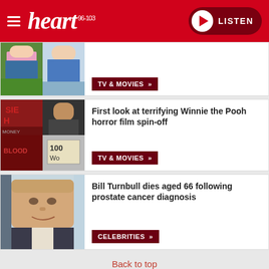heart 96-103 | LISTEN
[Figure (screenshot): Partial news card with thumbnail images (two people outdoors), TV & MOVIES tag button]
TV & MOVIES »
[Figure (screenshot): News card with Winnie the Pooh horror film collage images]
First look at terrifying Winnie the Pooh horror film spin-off
TV & MOVIES »
[Figure (photo): Photo of Bill Turnbull, middle-aged man in suit]
Bill Turnbull dies aged 66 following prostate cancer diagnosis
CELEBRITIES »
Back to top